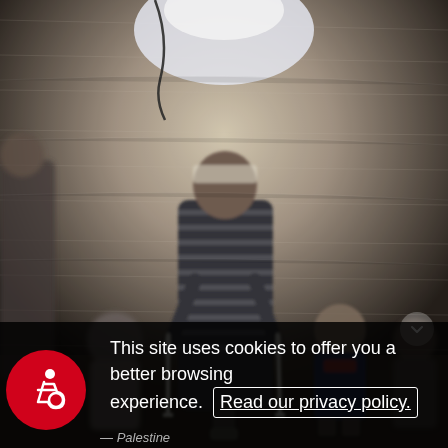[Figure (photo): A person on crutches with a prosthetic leg walking inside a tent or plastic-sheeted shelter, with several children visible in the background. The image is slightly blurred through translucent plastic sheeting. The setting appears to be a displacement camp.]
This site uses cookies to offer you a better browsing experience.  Read our privacy policy.
— Palestine